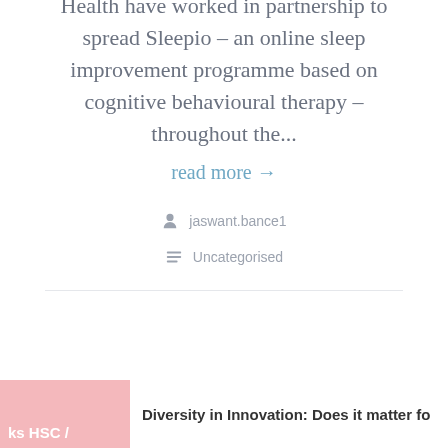Health have worked in partnership to spread Sleepio – an online sleep improvement programme based on cognitive behavioural therapy – throughout the...
read more →
jaswant.bance1
Uncategorised
Diversity in Innovation: Does it matter fo